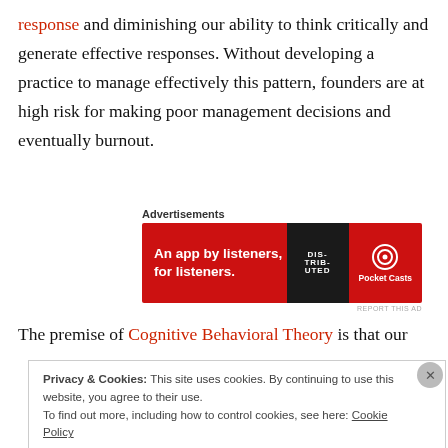response and diminishing our ability to think critically and generate effective responses. Without developing a practice to manage effectively this pattern, founders are at high risk for making poor management decisions and eventually burnout.
[Figure (other): Advertisement banner for Pocket Casts app: red background with text 'An app by listeners, for listeners.' and Pocket Casts logo on the right, with a phone image in the center.]
The premise of Cognitive Behavioral Theory is that our
Privacy & Cookies: This site uses cookies. By continuing to use this website, you agree to their use. To find out more, including how to control cookies, see here: Cookie Policy